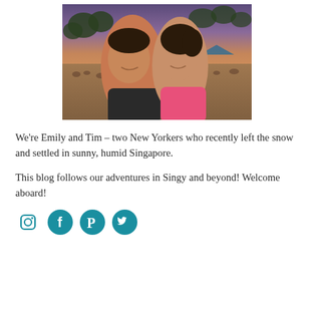[Figure (photo): A couple smiling at the camera on a beach at dusk/twilight. The man is on the left wearing a dark shirt, the woman is on the right wearing a pink top. In the background there are many people sitting on the beach, trees, and a dusky purple-orange sky.]
We're Emily and Tim – two New Yorkers who recently left the snow and settled in sunny, humid Singapore.
This blog follows our adventures in Singy and beyond! Welcome aboard!
[Figure (illustration): Four social media icons in teal/cyan color: Instagram, Facebook, Pinterest, Twitter]